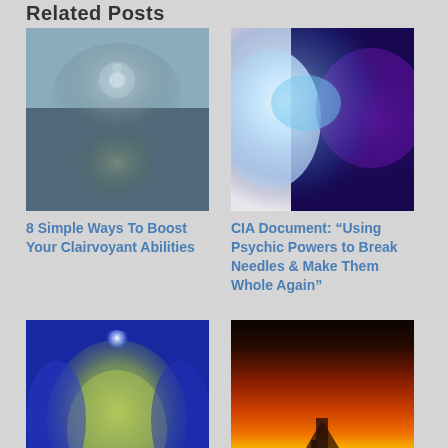Related Posts
[Figure (photo): Mystical woman face with third eye chakra, cloudy sky background]
[Figure (photo): Silhouette of human head with glowing brain and purple/blue cosmic background]
8 Simple Ways To Boost Your Clairvoyant Abilities
CIA Document: “Using Psychic Powers to Break Needles & Make Them Whole Again”
[Figure (photo): Close-up of woman face with green/yellow tones and blue psychic energy light on forehead]
[Figure (photo): Silhouette figure with open book at sunset with dramatic orange/gold sky and light rays]